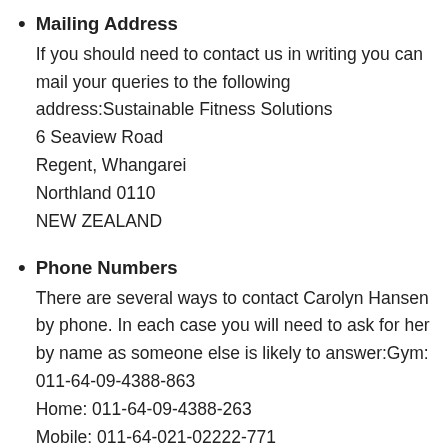Mailing Address
If you should need to contact us in writing you can mail your queries to the following address:Sustainable Fitness Solutions
6 Seaview Road
Regent, Whangarei
Northland 0110
NEW ZEALAND
Phone Numbers
There are several ways to contact Carolyn Hansen by phone. In each case you will need to ask for her by name as someone else is likely to answer:Gym: 011-64-09-4388-863
Home: 011-64-09-4388-263
Mobile: 011-64-021-02222-771